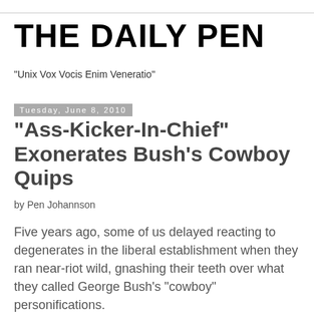THE DAILY PEN
"Unix Vox Vocis Enim Veneratio"
Tuesday, June 8, 2010
"Ass-Kicker-In-Chief" Exonerates Bush's Cowboy Quips
by Pen Johannson
Five years ago, some of us delayed reacting to degenerates in the liberal establishment when they ran near-riot wild, gnashing their teeth over what they called George Bush's “cowboy” personifications.
We knew this day would eventually come.
Exposing liberal democrats, as the hypocrites they are, is not only easy, it's fun.